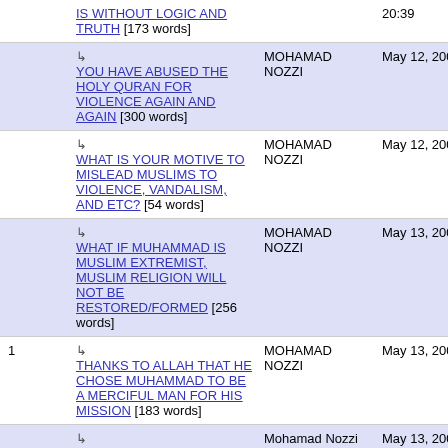IS WITHOUT LOGIC AND TRUTH [173 words] — MOHAMAD NOZZI — 20:39
YOU HAVE ABUSED THE HOLY QURAN FOR VIOLENCE AGAIN AND AGAIN [300 words] — MOHAMAD NOZZI — May 12, 2009 21:15
WHAT IS YOUR MOTIVE TO MISLEAD MUSLIMS TO VIOLENCE, VANDALISM, AND ETC? [54 words] — MOHAMAD NOZZI — May 12, 2009 22:06
WHAT IF MUHAMMAD IS MUSLIM EXTREMIST, MUSLIM RELIGION WILL NOT BE RESTORED/FORMED [256 words] — MOHAMAD NOZZI — May 13, 2009 02:56
1 — THANKS TO ALLAH THAT HE CHOSE MUHAMMAD TO BE A MERCIFUL MAN FOR HIS MISSION [183 words] — MOHAMAD NOZZI — May 13, 2009 03:31
ABUSING VERSES THAT ARE MEANT FOR THE SITUATION AFTER LAST JUDGMENT DAY [416 words] — Mohamad Nozzi — May 13, 2009 11:02